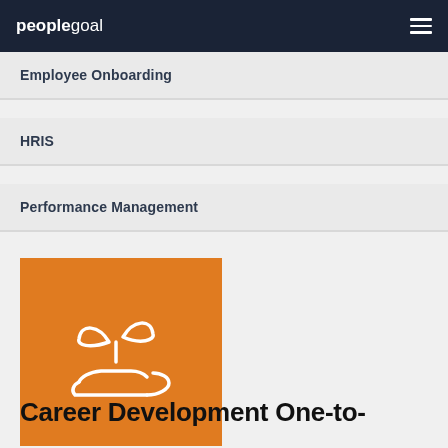peoplegoal
Employee Onboarding
HRIS
Performance Management
[Figure (illustration): Orange square with white line-art icon of a hand holding a sprouting plant with two leaves]
Career Development One-to-